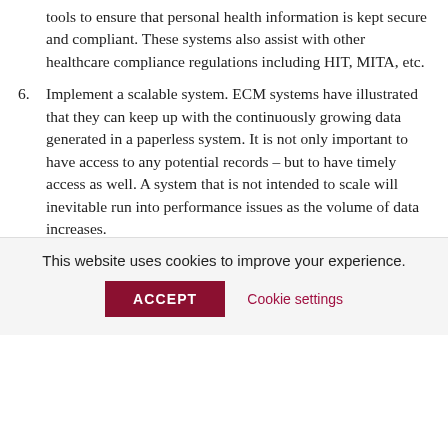tools to ensure that personal health information is kept secure and compliant. These systems also assist with other healthcare compliance regulations including HIT, MITA, etc.
6. Implement a scalable system. ECM systems have illustrated that they can keep up with the continuously growing data generated in a paperless system. It is not only important to have access to any potential records – but to have timely access as well. A system that is not intended to scale will inevitable run into performance issues as the volume of data increases.
Still not convinced? Ask our team how your EMR system can be improved with Enterprise Content Management today.
Category: Document Management  Process Improvement
This website uses cookies to improve your experience.